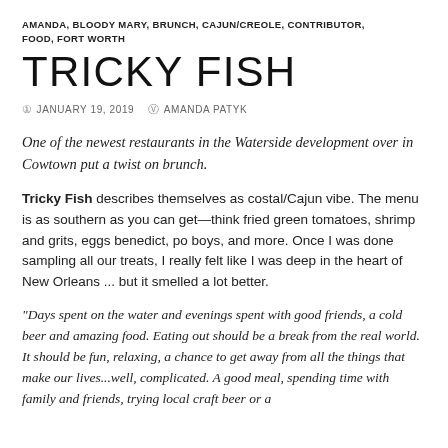AMANDA, BLOODY MARY, BRUNCH, CAJUN/CREOLE, CONTRIBUTOR, FOOD, FORT WORTH
TRICKY FISH
JANUARY 19, 2019   AMANDA PATYK
One of the newest restaurants in the Waterside development over in Cowtown put a twist on brunch.
Tricky Fish describes themselves as costal/Cajun vibe. The menu is as southern as you can get—think fried green tomatoes, shrimp and grits, eggs benedict, po boys, and more. Once I was done sampling all our treats, I really felt like I was deep in the heart of New Orleans ... but it smelled a lot better.
“Days spent on the water and evenings spent with good friends, a cold beer and amazing food. Eating out should be a break from the real world. It should be fun, relaxing, a chance to get away from all the things that make our lives...well, complicated. A good meal, spending time with family and friends, trying local craft beer or a